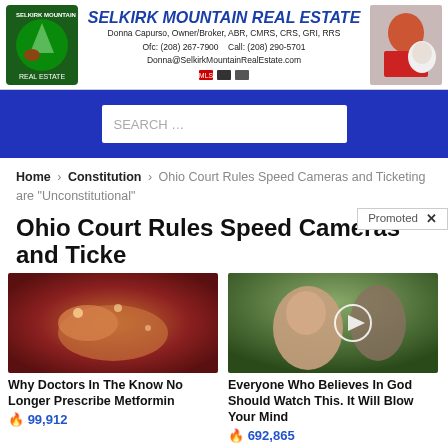[Figure (other): Selkirk Mountain Real Estate banner advertisement with logo, contact info, and photo of broker with dog]
[Figure (other): Blue search bar with search input field]
Home > Constitution > Ohio Court Rules Speed Cameras and Ticketing are “Unconstitutional”
Ohio Court Rules Speed Cameras
Promoted X
[Figure (photo): Medical image showing internal body tissue]
Why Doctors In The Know No Longer Prescribe Metformin
99,912
[Figure (photo): Video thumbnail showing a woman and man outdoors with play button]
Everyone Who Believes In God Should Watch This. It Will Blow Your Mind
692,865